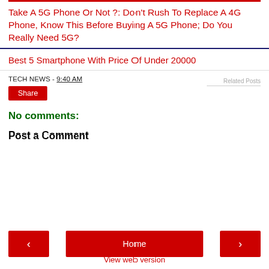Take A 5G Phone Or Not ?: Don't Rush To Replace A 4G Phone, Know This Before Buying A 5G Phone; Do You Really Need 5G?
Best 5 Smartphone With Price Of Under 20000
TECH NEWS - 9:40 AM
Share
Related Posts
No comments:
Post a Comment
Home
View web version